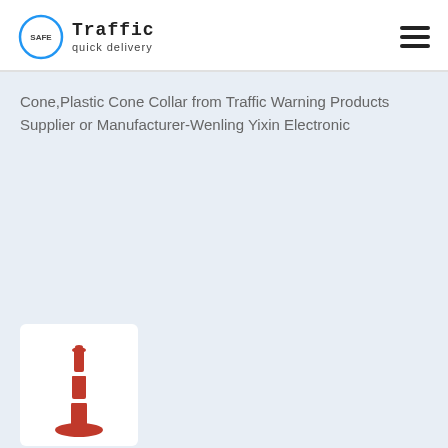Traffic quick delivery
Cone,Plastic Cone Collar from Traffic Warning Products Supplier or Manufacturer-Wenling Yixin Electronic
[Figure (photo): A red traffic delineator post/cone with white reflective bands and a red base, displayed against a white background.]
Source length 2meters road cone plastic collar